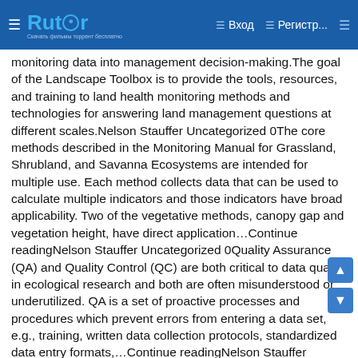Rutor — Вход — Регистр...
monitoring data into management decision-making.The goal of the Landscape Toolbox is to provide the tools, resources, and training to land health monitoring methods and technologies for answering land management questions at different scales.Nelson Stauffer Uncategorized 0The core methods described in the Monitoring Manual for Grassland, Shrubland, and Savanna Ecosystems are intended for multiple use. Each method collects data that can be used to calculate multiple indicators and those indicators have broad applicability. Two of the vegetative methods, canopy gap and vegetation height, have direct application…Continue readingNelson Stauffer Uncategorized 0Quality Assurance (QA) and Quality Control (QC) are both critical to data quality in ecological research and both are often misunderstood or underutilized. QA is a set of proactive processes and procedures which prevent errors from entering a data set, e.g., training, written data collection protocols, standardized data entry formats,…Continue readingNelson Stauffer Uncategorized 0In order to meet its monitoring and information needs, the Bureau of Land